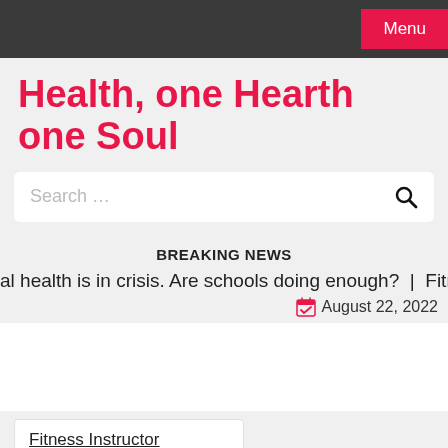Menu
Health, one Hearth one Soul
Search …
BREAKING NEWS
al health is in crisis. Are schools doing enough?  |  Fitness tip
August 22, 2022
Fitness Instructor